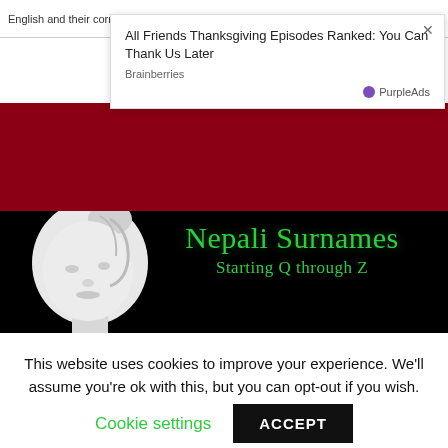English and their corresponding Nepali Names. Published On: 08/1...jaal
[Figure (screenshot): Ad overlay showing 'All Friends Thanksgiving Episodes Ranked: You Can Thank Us Later' by Brainberries, with PurpleAds branding and close button]
[Figure (illustration): Website banner with dark red top half and black bottom half. A white mannequin head on the left. Green text reads 'Nepali Surnames' and 'Starting Q through Z']
This website uses cookies to improve your experience. We'll assume you're ok with this, but you can opt-out if you wish.
Cookie settings   ACCEPT